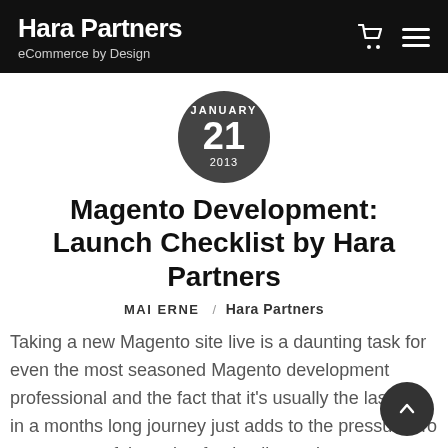Hara Partners / eCommerce by Design
[Figure (other): Dark circular date badge showing JANUARY 21 2013]
Magento Development: Launch Checklist by Hara Partners
MAI ERNE / Hara Partners
Taking a new Magento site live is a daunting task for even the most seasoned Magento development professional and the fact that it's usually the last step in a months long journey just adds to the pressure. To ease some of the pain of going live we've put together a comprehensive checklist that covers everything you